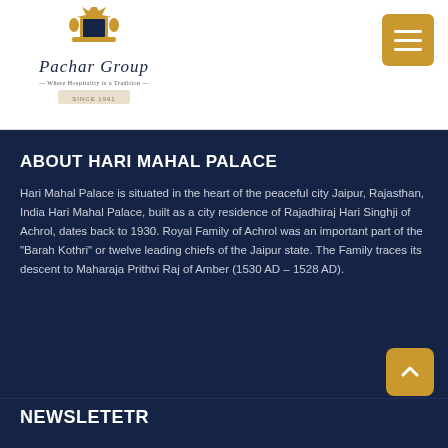[Figure (logo): Pachar Group logo with crown/crest emblem, cursive text 'Pachar Group', tagline 'Where Hospitality is a Tradition', and banner 'SINCE 1991']
ABOUT HARI MAHAL PALACE
Hari Mahal Palace is situated in the heart of the peaceful city Jaipur, Rajasthan, India Hari Mahal Palace, built as a city residence of Rajadhiraj Hari Singhji of Achrol, dates back to 1930. Royal Family of Achrol was an important part of the "Barah Kothri" or twelve leading chiefs of the Jaipur state. The Family traces its descent to Maharaja Prithvi Raj of Amber (1530 AD – 1528 AD).
NEWSLETETR